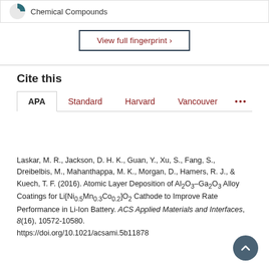Chemical Compounds
View full fingerprint ›
Cite this
APA | Standard | Harvard | Vancouver | ...
Laskar, M. R., Jackson, D. H. K., Guan, Y., Xu, S., Fang, S., Dreibelbis, M., Mahanthappa, M. K., Morgan, D., Hamers, R. J., & Kuech, T. F. (2016). Atomic Layer Deposition of Al₂O₃–Ga₂O₃ Alloy Coatings for Li[Ni₀.₅Mn₀.₃Co₀.₂]O₂ Cathode to Improve Rate Performance in Li-Ion Battery. ACS Applied Materials and Interfaces, 8(16), 10572-10580. https://doi.org/10.1021/acsami.5b11878